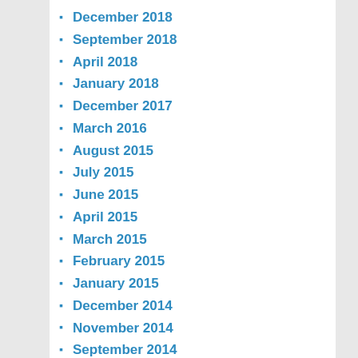December 2018
September 2018
April 2018
January 2018
December 2017
March 2016
August 2015
July 2015
June 2015
April 2015
March 2015
February 2015
January 2015
December 2014
November 2014
September 2014
August 2014
July 2014
June 2014
April 2014
February 2014